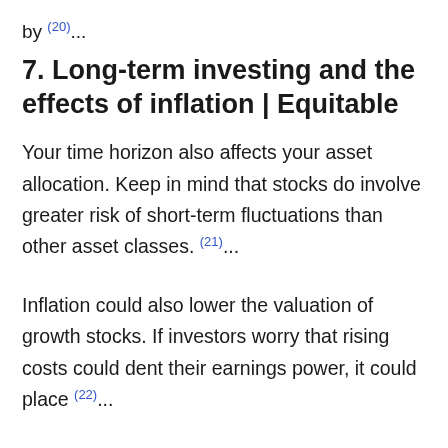by (20)...
7. Long-term investing and the effects of inflation | Equitable
Your time horizon also affects your asset allocation. Keep in mind that stocks do involve greater risk of short-term fluctuations than other asset classes. (21)...
Inflation could also lower the valuation of growth stocks. If investors worry that rising costs could dent their earnings power, it could place (22)...